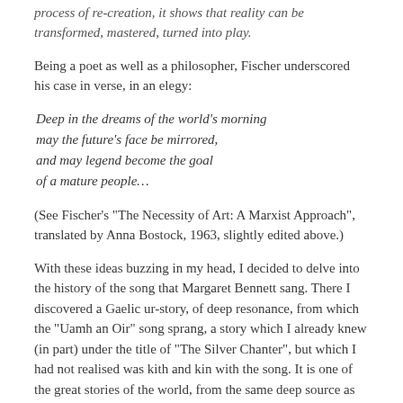process of re-creation, it shows that reality can be transformed, mastered, turned into play.
Being a poet as well as a philosopher, Fischer underscored his case in verse, in an elegy:
Deep in the dreams of the world’s morning
may the future’s face be mirrored,
and may legend become the goal
of a mature people…
(See Fischer’s “The Necessity of Art: A Marxist Approach”, translated by Anna Bostock, 1963, slightly edited above.)
With these ideas buzzing in my head, I decided to delve into the history of the song that Margaret Bennett sang. There I discovered a Gaelic ur-story, of deep resonance, from which the “Uamh an Oir” song sprang, a story which I already knew (in part) under the title of “The Silver Chanter”, but which I had not realised was kith and kin with the song. It is one of the great stories of the world, from the same deep source as Orpheus.